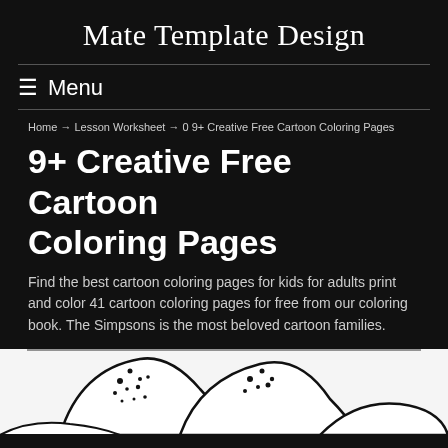Mate Template Design
☰ Menu
Home → Lesson Worksheet → 0 9+ Creative Free Cartoon Coloring Pages
9+ Creative Free Cartoon Coloring Pages
Find the best cartoon coloring pages for kids for adults print and color 41 cartoon coloring pages for free from our coloring book. The Simpsons is the most beloved cartoon families.
[Figure (illustration): Black and white cartoon coloring page illustration showing mountain-like shapes with dots and curved outlines on a white background, partially visible at the bottom of the page.]